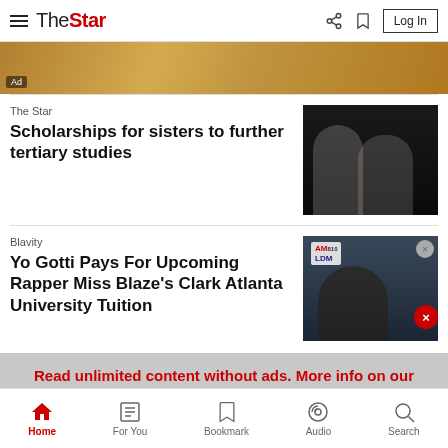The Star — navigation bar with hamburger menu, logo, share, bookmark, and Log In
[Figure (photo): Gold/ornate advertisement banner with Ad label]
The Star
Scholarships for sisters to further tertiary studies
[Figure (photo): Two young women posing against dark background, one holding documents and a phone]
Blavity
Yo Gotti Pays For Upcoming Rapper Miss Blaze's Clark Atlanta University Tuition
[Figure (photo): Man at event with AM/LDM radio logos in background, close button overlay]
Read unlimited content without ads. More info on our Premium Plan. >
Home | For You | Bookmark | Audio | Search